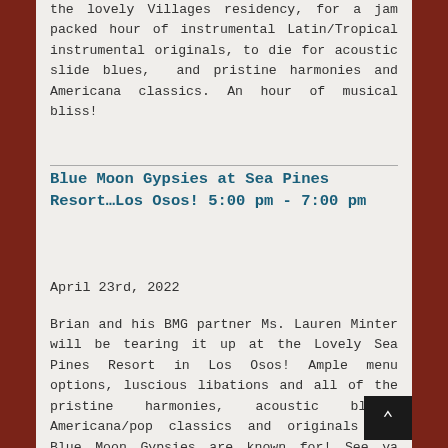the lovely Villages residency, for a jam packed hour of instrumental Latin/Tropical instrumental originals, to die for acoustic slide blues,  and pristine harmonies and Americana classics. An hour of musical bliss!
Blue Moon Gypsies at Sea Pines Resort…Los Osos! 5:00 pm - 7:00 pm
April 23rd, 2022
Brian and his BMG partner Ms. Lauren Minter will be tearing it up at the Lovely Sea Pines Resort in Los Osos! Ample menu options, luscious libations and all of the pristine harmonies, acoustic blues, Americana/pop classics and originals the Blue Moon Gypsies are known for! See ya there!